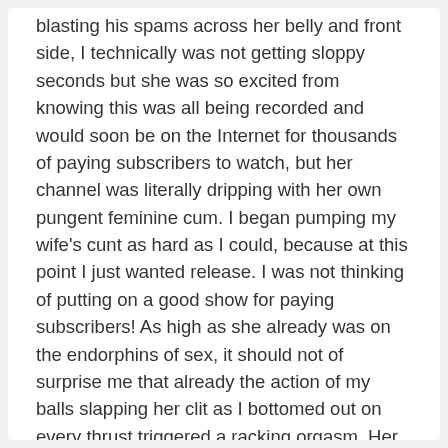blasting his spams across her belly and front side, I technically was not getting sloppy seconds but she was so excited from knowing this was all being recorded and would soon be on the Internet for thousands of paying subscribers to watch, but her channel was literally dripping with her own pungent feminine cum. I began pumping my wife's cunt as hard as I could, because at this point I just wanted release. I was not thinking of putting on a good show for paying subscribers! As high as she already was on the endorphins of sex, it should not of surprise me that already the action of my balls slapping her clit as I bottomed out on every thrust triggered a racking orgasm. Her body convulsed a beautifully as she shuddered in the waves of pleasure rippling through her body. I heard a couple of toes cracked as she curled them in her joy! And just that quickly I began the climax as well, but I stayed where I was pumping frantically and festooning her delicate interior tissues with splash after splash of my own hot creamy jizz. As the ringing in my years subsided and my